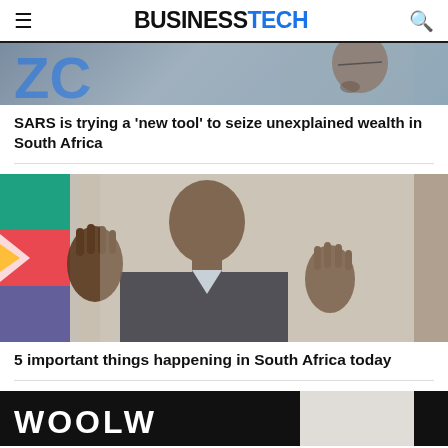BUSINESSTECH
[Figure (photo): Partial photo showing a person, likely a government or SARS official, with blue background and partial text/logo visible]
SARS is trying a ‘new tool’ to seize unexplained wealth in South Africa
[Figure (photo): Photo of Cyril Ramaphosa sitting at a desk with both hands raised open, South African flag visible in the background]
5 important things happening in South Africa today
[Figure (photo): Partial photo showing Woolworths branding/signage in black and white]